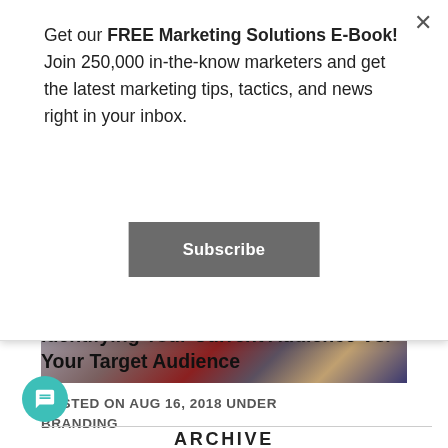Get our FREE Marketing Solutions E-Book! Join 250,000 in-the-know marketers and get the latest marketing tips, tactics, and news right in your inbox.
Subscribe
[Figure (photo): Partial view of people in a business/marketing setting, cropped image showing clothing and background]
Identifying Your Current Audience Vs. Your Target Audience
POSTED ON AUG 16, 2018 UNDER BRANDING
ARCHIVE